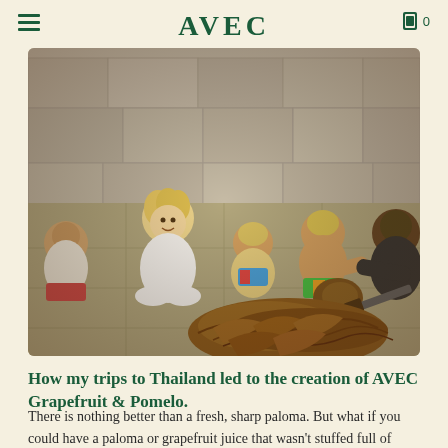AVEC
[Figure (photo): Children sitting on a tiled floor outdoors watching someone crack open a coconut. A pile of coconut husks is in the foreground. Stone wall in the background. Vintage photograph style.]
How my trips to Thailand led to the creation of AVEC Grapefruit & Pomelo.
There is nothing better than a fresh, sharp paloma. But what if you could have a paloma or grapefruit juice that wasn't stuffed full of sugar? This is where we begun our